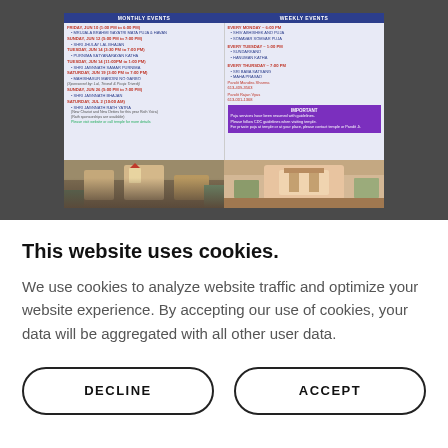[Figure (infographic): Temple event flyer showing monthly and weekly events schedule for a Hindu temple, with two columns (Monthly Events and Weekly Events), event dates and names, an important notice box in purple, and two temple photos at the bottom.]
This website uses cookies.
We use cookies to analyze website traffic and optimize your website experience. By accepting our use of cookies, your data will be aggregated with all other user data.
DECLINE
ACCEPT